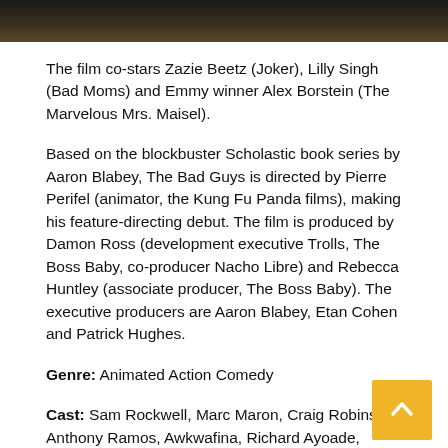[Figure (photo): Dark cinematic photo strip at the top of the page]
The film co-stars Zazie Beetz (Joker), Lilly Singh (Bad Moms) and Emmy winner Alex Borstein (The Marvelous Mrs. Maisel).
Based on the blockbuster Scholastic book series by Aaron Blabey, The Bad Guys is directed by Pierre Perifel (animator, the Kung Fu Panda films), making his feature-directing debut. The film is produced by Damon Ross (development executive Trolls, The Boss Baby, co-producer Nacho Libre) and Rebecca Huntley (associate producer, The Boss Baby). The executive producers are Aaron Blabey, Etan Cohen and Patrick Hughes.
Genre: Animated Action Comedy
Cast: Sam Rockwell, Marc Maron, Craig Robinson, Anthony Ramos, Awkwafina, Richard Ayoade, Zazie Beetz, Lilly Singh and Alex Borstein
Based On: The Scholastic book series by Aaron Blabey